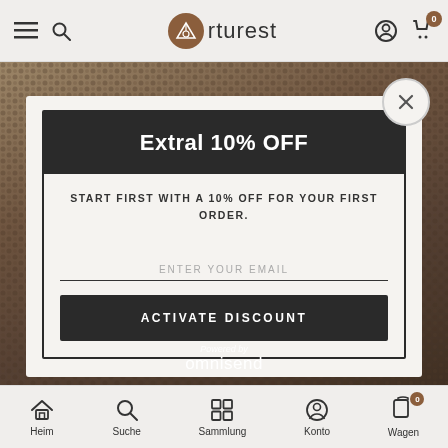Arturest — mobile website header with hamburger menu, search, logo, account and cart icons
[Figure (screenshot): Background product image showing woven/knitted textile items in brown tones]
Extral 10% OFF
START FIRST WITH A 10% OFF FOR YOUR FIRST ORDER.
ENTER YOUR EMAIL
ACTIVATE DISCOUNT
Powered by omnisend
Heim  Suche  Sammlung  Konto  Wagen